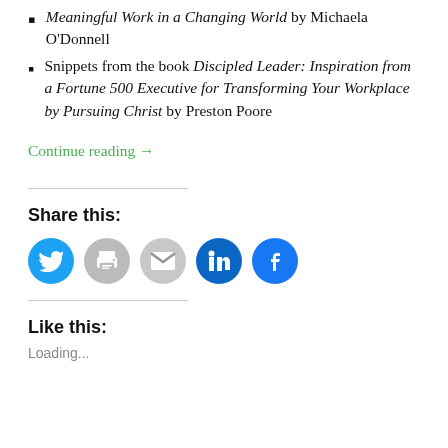Meaningful Work in a Changing World by Michaela O'Donnell
Snippets from the book Discipled Leader: Inspiration from a Fortune 500 Executive for Transforming Your Workplace by Pursuing Christ by Preston Poore
Continue reading →
Share this:
[Figure (infographic): Social share buttons: Twitter (blue circle), Print (gray circle), Email (gray circle), LinkedIn (dark blue circle), Facebook (blue circle)]
Like this:
Loading...